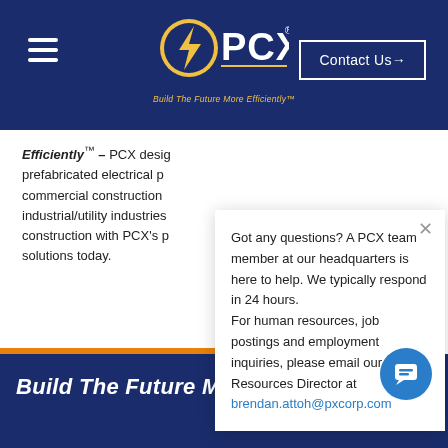[Figure (logo): PCX logo with lightning bolt icon and tagline 'Build The Future More Efficiently™' on navy header bar]
Contact Us→
Efficiently™ – PCX designs prefabricated electrical products for commercial construction and industrial/utility industries. Transform construction with PCX's proven solutions today.
Got any questions? A PCX team member at our headquarters is here to help. We typically respond in 24 hours. For human resources, job postings and employment inquiries, please email our Human Resources Director at brendan.attoh@pxcorp.com
Build The Future More Efficiently™